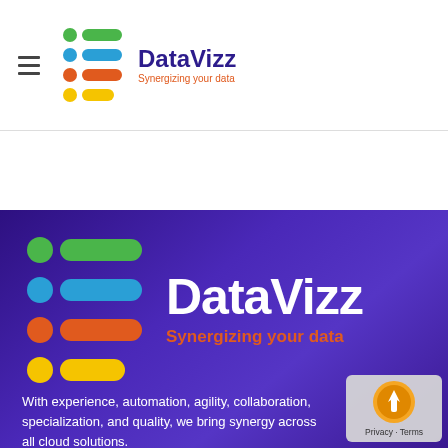[Figure (logo): DataVizz logo in header: colorful stacked bars icon with DataVizz name in dark purple and tagline Synergizing your data in orange]
[Figure (logo): Large DataVizz logo on purple background: colorful stacked bars icon, DataVizz in white bold text, Synergizing your data in orange]
With experience, automation, agility, collaboration, specialization, and quality, we bring synergy across all cloud solutions.